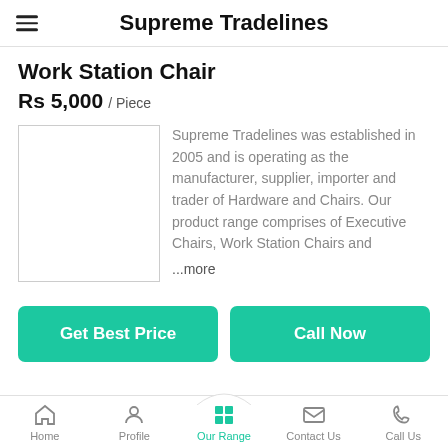Supreme Tradelines
Work Station Chair
Rs 5,000 / Piece
[Figure (photo): Product image placeholder box (empty white rectangle with border)]
Supreme Tradelines was established in 2005 and is operating as the manufacturer, supplier, importer and trader of Hardware and Chairs. Our product range comprises of Executive Chairs, Work Station Chairs and ...more
Get Best Price
Call Now
Home | Profile | Our Range | Contact Us | Call Us